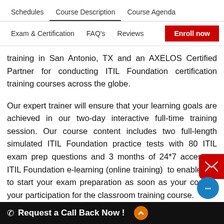Schedules   Course Description   Course Agenda   Exam & Certification   FAQ's   Reviews
training in San Antonio, TX and an AXELOS Certified Partner for conducting ITIL Foundation certification training courses across the globe.
Our expert trainer will ensure that your learning goals are achieved in our two-day interactive full-time training session. Our course content includes two full-length simulated ITIL Foundation practice tests with 80 ITIL exam prep questions and 3 months of 24*7 access to ITIL Foundation e-learning (online training) to enable you to start your exam preparation as soon as your confirm your participation for the classroom training course.
Our courseware prepared by leading lights with hands-
Request a Call Back Now !